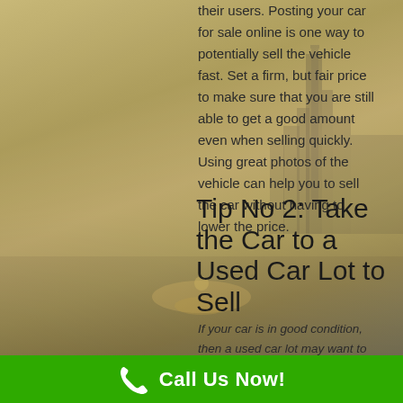[Figure (photo): Cityscape background image with hazy golden/sepia tones, showing skyscrapers in fog with a waterfront reflection in the lower portion.]
their users. Posting your car for sale online is one way to potentially sell the vehicle fast. Set a firm, but fair price to make sure that you are still able to get a good amount even when selling quickly. Using great photos of the vehicle can help you to sell the car without having to lower the price.
Tip No 2: Take the Car to a Used Car Lot to Sell
If your car is in good condition, then a used car lot may want to buy your car from...
Call Us Now!